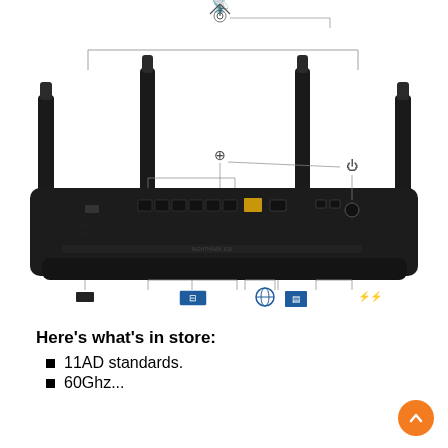[Figure (engineering-diagram): Back view of a NETGEAR router with four antennas. Labeled callouts point to: Four Enhanced Active Antennas (enhances weak signal and reduces interference using a patent pending design), Link Aggregation (ability to aggregate two Gigabit LAN ports for faster file transfers), Power On/Off button, LED On/Off, Six Gigabit Ethernet LAN Ports to connect more wired devices, High-speed Internet, 10G LAN SFP+ port for fast Network Attached Storage Access, Two USB 3.0 Ports for faster file transfer.]
Here’s what’s in store:
11AD standards.
60Ghz...